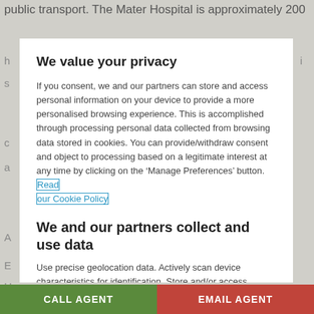public transport. The Mater Hospital is approximately 200
We value your privacy
If you consent, we and our partners can store and access personal information on your device to provide a more personalised browsing experience. This is accomplished through processing personal data collected from browsing data stored in cookies. You can provide/withdraw consent and object to processing based on a legitimate interest at any time by clicking on the ‘Manage Preferences’ button. Read our Cookie Policy
We and our partners collect and use data
Use precise geolocation data. Actively scan device characteristics for identification. Store and/or access information on a device. Personalised ads and content, ad and content measurement, audience insights and product development.
List of Partners (vendors)
I ACCEPT
CALL AGENT   EMAIL AGENT